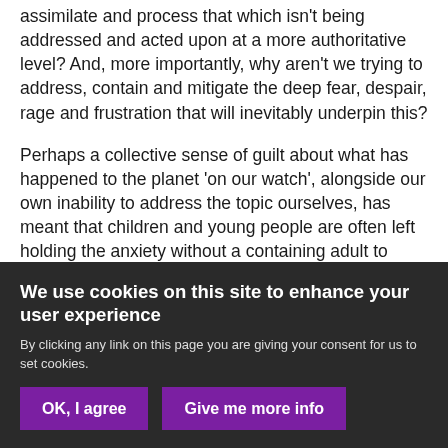assimilate and process that which isn't being addressed and acted upon at a more authoritative level? And, more importantly, why aren't we trying to address, contain and mitigate the deep fear, despair, rage and frustration that will inevitably underpin this?
Perhaps a collective sense of guilt about what has happened to the planet 'on our watch', alongside our own inability to address the topic ourselves, has meant that children and young people are often left holding the anxiety without a containing adult to
We use cookies on this site to enhance your user experience
By clicking any link on this page you are giving your consent for us to set cookies.
OK, I agree
Give me more info